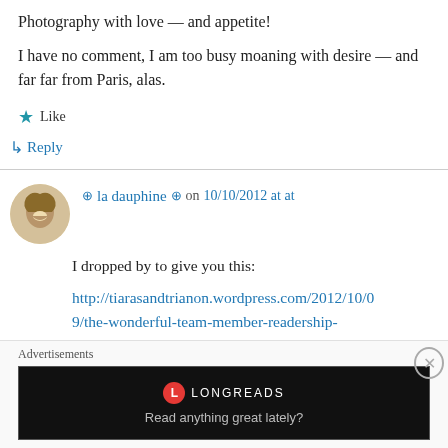Photography with love — and appetite!
I have no comment, I am too busy moaning with desire — and far far from Paris, alas.
★ Like
↳ Reply
⊕ la dauphine ⊕ on 10/10/2012 at at
I dropped by to give you this:
http://tiarasandtrianon.wordpress.com/2012/10/09/the-wonderful-team-member-readership-award-and-another-crown-of-laurels/
Advertisements
[Figure (screenshot): Longreads advertisement banner with text 'Read anything great lately?']